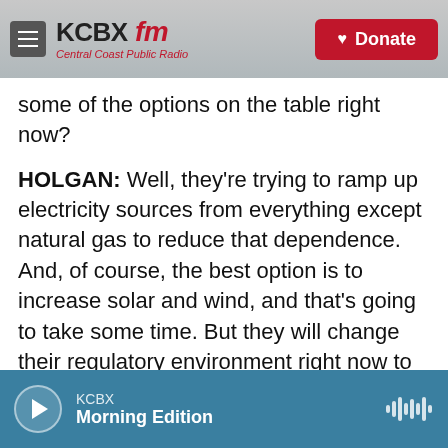KCBX FM — Central Coast Public Radio | Donate
some of the options on the table right now?
HOLGAN: Well, they're trying to ramp up electricity sources from everything except natural gas to reduce that dependence. And, of course, the best option is to increase solar and wind, and that's going to take some time. But they will change their regulatory environment right now to try to increase the speed at which they transition to renewables. And in the short term, they're also going to increase coal and nuclear by delaying the decommissioning of nuclear plants.
KCBX — Morning Edition